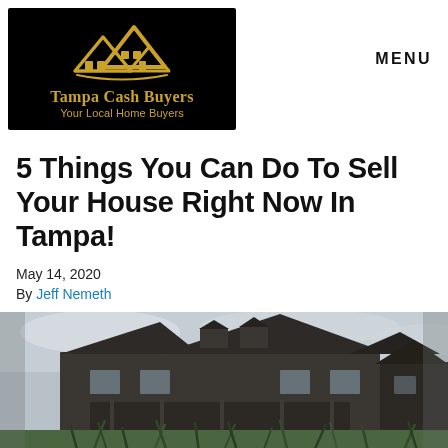[Figure (logo): Tampa Cash Buyers logo — gold roof/house icon on black background with text 'Tampa Cash Buyers / Your Local Home Buyers']
MENU
5 Things You Can Do To Sell Your House Right Now In Tampa!
May 14, 2020
By Jeff Nemeth
[Figure (photo): Exterior photo of a large dark-colored house with steep rooflines, viewed from a low angle through tall grass in the foreground, on a cloudy day.]